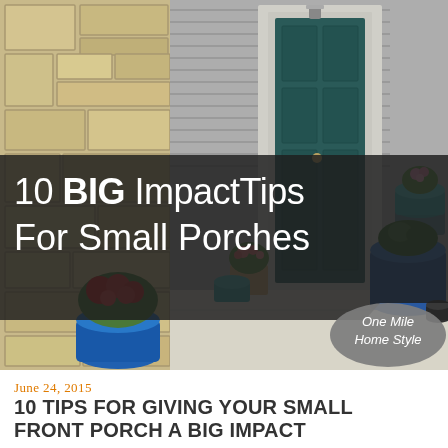[Figure (photo): Photo of a small front porch with a teal/dark green front door, stone wall on left, blue planters with flowers, and a blue barrel on the right. Title text overlay reads '10 BIG Impact Tips For Small Porches' with an oval gray badge showing 'One Mile Home Style'.]
10 BIG Impact Tips For Small Porches
June 24, 2015
10 TIPS FOR GIVING YOUR SMALL FRONT PORCH A BIG IMPACT